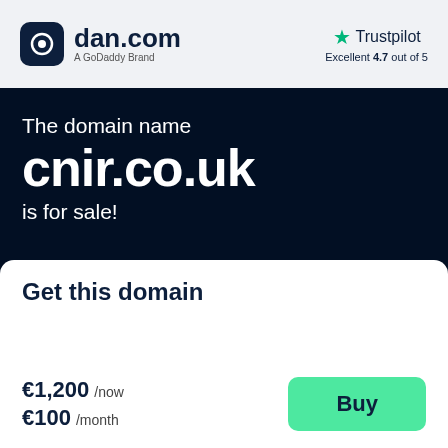[Figure (logo): dan.com logo with dark rounded square icon and text 'dan.com', subtitle 'A GoDaddy Brand']
[Figure (logo): Trustpilot logo with green star, text 'Trustpilot', rating 'Excellent 4.7 out of 5']
The domain name
cnir.co.uk
is for sale!
Get this domain
€1,200 /now
€100 /month